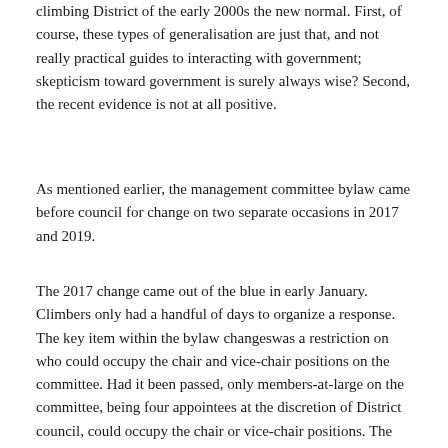climbing District of the early 2000s the new normal. First, of course, these types of generalisation are just that, and not really practical guides to interacting with government; skepticism toward government is surely always wise? Second, the recent evidence is not at all positive.
As mentioned earlier, the management committee bylaw came before council for change on two separate occasions in 2017 and 2019.
The 2017 change came out of the blue in early January. Climbers only had a handful of days to organize a response. The key item within the bylaw changeswas a restriction on who could occupy the chair and vice-chair positions on the committee. Had it been passed, only members-at-large on the committee, being four appointees at the discretion of District council, could occupy the chair or vice-chair positions. The bylaw-mandated composition of the committee in 2017 was: